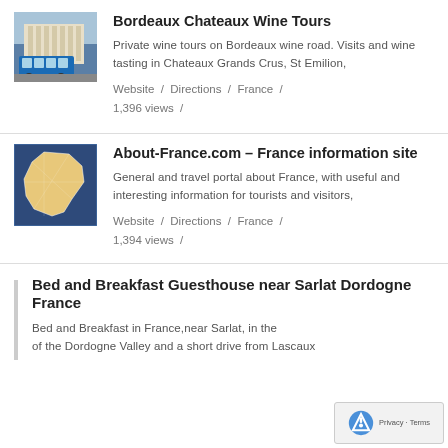[Figure (photo): Photo of a blue tram in front of a classical building in Bordeaux]
Bordeaux Chateaux Wine Tours
Private wine tours on Bordeaux wine road. Visits and wine tasting in Chateaux Grands Crus, St Emilion,
Website / Directions / France / 1,396 views /
[Figure (map): Map of France showing regional divisions]
About-France.com - France information site
General and travel portal about France, with useful and interesting information for tourists and visitors,
Website / Directions / France / 1,394 views /
Bed and Breakfast Guesthouse near Sarlat Dordogne France
Bed and Breakfast in France,near Sarlat, in the of the Dordogne Valley and a short drive from Lascaux